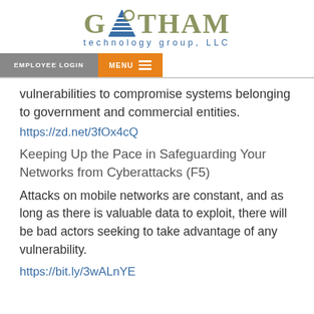[Figure (logo): Gotham Technology Group, LLC logo with triangle icon and blue subtitle text]
EMPLOYEE LOGIN | MENU
vulnerabilities to compromise systems belonging to government and commercial entities.
https://zd.net/3fOx4cQ
Keeping Up the Pace in Safeguarding Your Networks from Cyberattacks (F5)
Attacks on mobile networks are constant, and as long as there is valuable data to exploit, there will be bad actors seeking to take advantage of any vulnerability.
https://bit.ly/3wALnYE